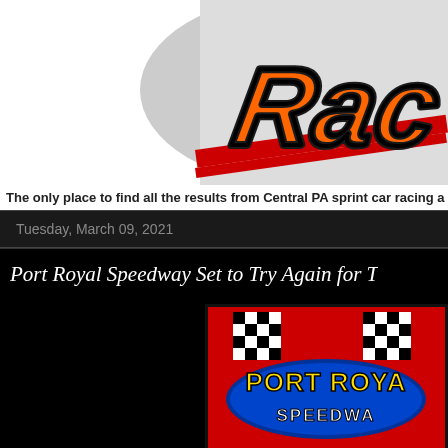[Figure (logo): Racing website logo with orange graffiti-style text 'Rac' visible, with grey and red design elements on white background]
The only place to find all the results from Central PA sprint car racing a
Tuesday, March 09, 2021
Port Royal Speedway Set to Try Again for
[Figure (logo): Port Royal Speedway logo on red background with checkered flags, yellow and white text reading PORT ROYAL SPEEDWAY, and blue banner at bottom with partial text MAR]